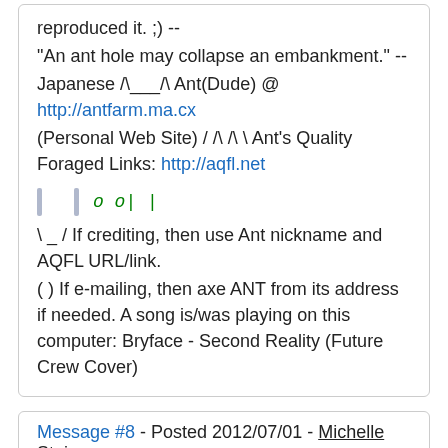reproduced it. ;) -- "An ant hole may collapse an embankment." -- Japanese /\___/\ Ant(Dude) @ http://antfarm.ma.cx (Personal Web Site) / /\ /\ \ Ant's Quality Foraged Links: http://aqfl.net
o o| |
\ _ / If crediting, then use Ant nickname and AQFL URL/link.
( ) If e-mailing, then axe ANT from its address if needed. A song is/was playing on this computer: Bryface - Second Reality (Future Crew Cover)
Message #8 - Posted 2012/07/01 - Michelle Steiner
Previously, Ant wrote: